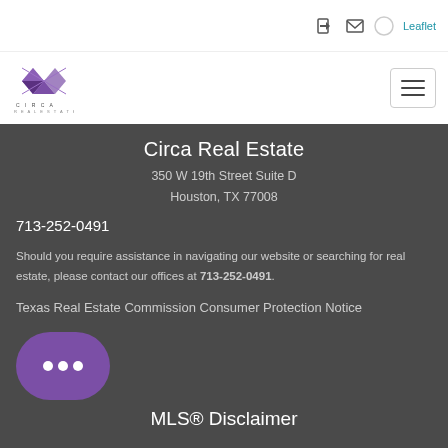Leaflet
[Figure (logo): Circa Real Estate logo with purple geometric diamond pattern and text CIRCA REAL ESTATE below]
Circa Real Estate
350 W 19th Street Suite D
Houston, TX 77008
713-252-0491
Should you require assistance in navigating our website or searching for real estate, please contact our offices at 713-252-0491.
Texas Real Estate Commission Consumer Protection Notice
MLS® Disclaimer